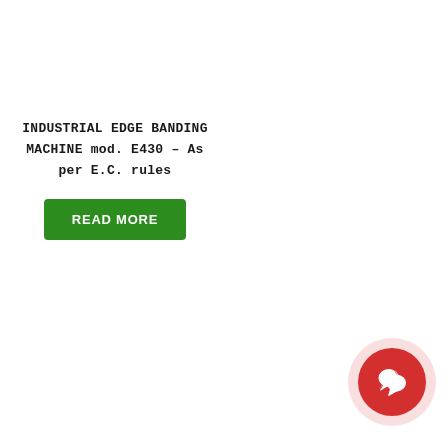INDUSTRIAL EDGE BANDING MACHINE mod. E430 – As per E.C. rules
READ MORE
[Figure (illustration): Red circular chat/message bubble icon with white speech bubble symbol, on a light pink/pale red circular background]